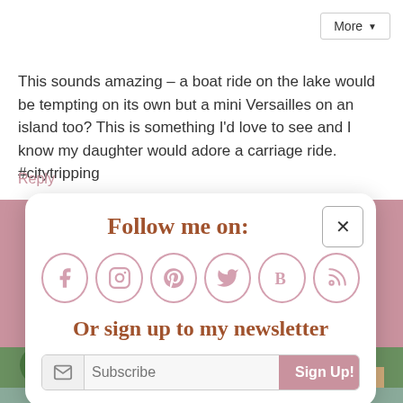This sounds amazing – a boat ride on the lake would be tempting on its own but a mini Versailles on an island too? This is something I'd love to see and I know my daughter would adore a carriage ride. #citytripping
Reply
Follow me on:
[Figure (infographic): Six social media icons in pink circles: Facebook (f), Instagram (camera/circle), Pinterest (P swirl), Twitter (bird), Bloglovin (B), RSS (wifi/feed symbol)]
Or sign up to my newsletter
Subscribe  Sign Up!
[Figure (photo): Partial photo of a woman with glasses and a hat outdoors near a town/waterfront scene]